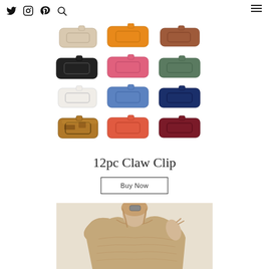Social icons (Twitter, Instagram, Pinterest, Search) and hamburger menu
[Figure (photo): 12 colorful hair claw clips arranged in a 4-row by 3-column grid showing various colors including beige, orange, rust, black, pink, green, white, blue, navy, tortoise, coral, and burgundy]
12pc Claw Clip
Buy Now
[Figure (photo): Woman wearing a beige/tan loose knit sweater, photographed from shoulders up, hair pulled back with a claw clip]